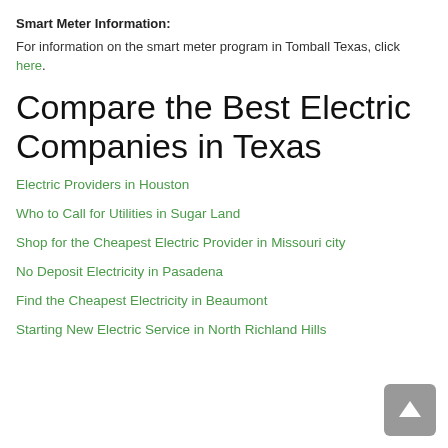Smart Meter Information:
For information on the smart meter program in Tomball Texas, click here.
Compare the Best Electric Companies in Texas
Electric Providers in Houston
Who to Call for Utilities in Sugar Land
Shop for the Cheapest Electric Provider in Missouri city
No Deposit Electricity in Pasadena
Find the Cheapest Electricity in Beaumont
Starting New Electric Service in North Richland Hills